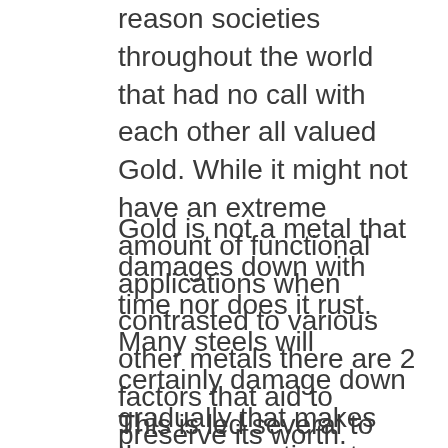reason societies throughout the world that had no call with each other all valued Gold. While it might not have an extreme amount of functional applications when contrasted to various other metals there are 2 factors that aid to preserve its worth.
Gold is not a metal that damages down with time nor does it rust. Many steels will certainly damage down gradually that makes them poor options to hold value. The second as well as perhaps most important factor is that gold is uncommon. If there were an excess of it it would certainly not be virtually as useful.
This is led several to ask yourself whether